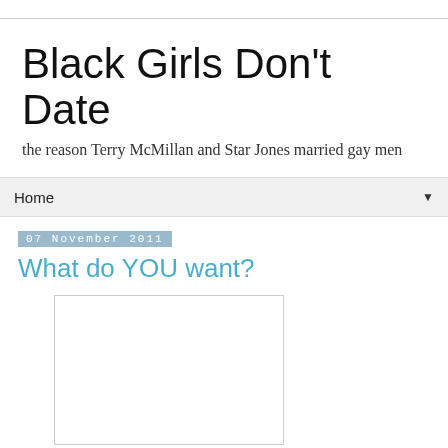Black Girls Don't Date
the reason Terry McMillan and Star Jones married gay men
Home
07 November 2011
What do YOU want?
[Figure (other): Embedded content box (white rectangle with border, likely a video or image embed area)]